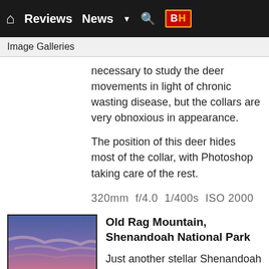Reviews  News  B|H
Image Galleries
necessary to study the deer movements in light of chronic wasting disease, but the collars are very obnoxious in appearance.
The position of this deer hides most of the collar, with Photoshop taking care of the rest.
320mm  f/4.0  1/400s  ISO 2000
[Figure (photo): Thumbnail photo of a sunset over mountains at Old Rag Mountain, Shenandoah National Park — warm orange and pink sky with silhouetted ridge.]
Old Rag Mountain, Shenandoah National Park
Just another stellar Shenandoah National Park sunrise and being there